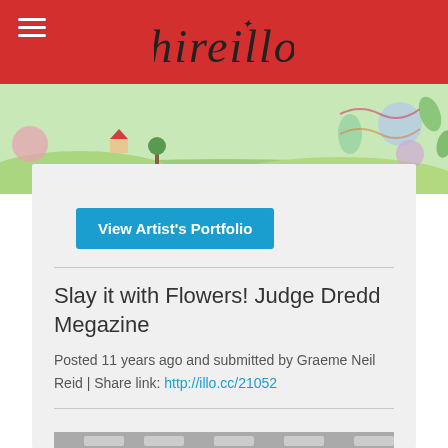hireillo
View Artist's Portfolio
Slay it with Flowers! Judge Dredd Megazine
Posted 11 years ago and submitted by Graeme Neil Reid | Share link: http://illo.cc/21052
[Figure (illustration): Black and white comic art panels showing Judge Dredd characters in an indoor scene — skeletal figure on left, judges in uniform in center and right, indoor background with ceiling lights]